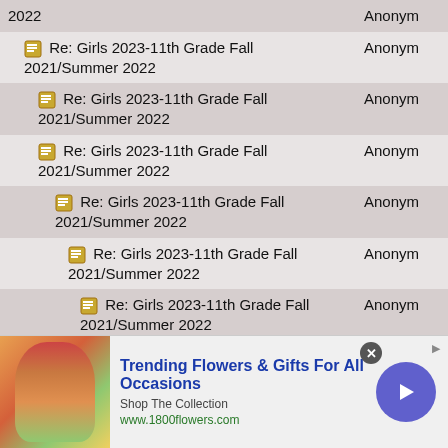| Subject | Author |
| --- | --- |
| 2022 | Anonym |
| [icon] Re: Girls 2023-11th Grade Fall 2021/Summer 2022 | Anonym |
| [icon] Re: Girls 2023-11th Grade Fall 2021/Summer 2022 | Anonym |
| [icon] Re: Girls 2023-11th Grade Fall 2021/Summer 2022 | Anonym |
| [icon] Re: Girls 2023-11th Grade Fall 2021/Summer 2022 | Anonym |
| [icon] Re: Girls 2023-11th Grade Fall 2021/Summer 2022 | Anonym |
| [icon] Re: Girls 2023-11th Grade Fall 2021/Summer 2022 | Anonym |
| [icon] Re: Girls 2023-11th Grade Fall 2021/Summer 2022 | Anonym |
| [icon] Re: Girls 2023-11th Grade Fall 2021/Summer 2022 | Anonym |
[Figure (infographic): Advertisement banner for 1800flowers.com: Trending Flowers & Gifts For All Occasions. Shop The Collection. www.1800flowers.com. Shows a woman with flowers and a purple arrow button.]